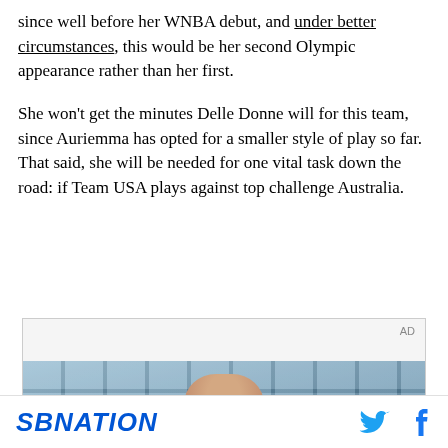since well before her WNBA debut, and under better circumstances, this would be her second Olympic appearance rather than her first.
She won't get the minutes Delle Donne will for this team, since Auriemma has opted for a smaller style of play so far. That said, she will be needed for one vital task down the road: if Team USA plays against top challenge Australia.
[Figure (other): Advertisement placeholder with AD label and partial image of a person in front of a blue tiled wall/window]
SBNATION